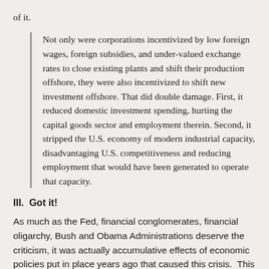of it.
Not only were corporations incentivized by low foreign wages, foreign subsidies, and under-valued exchange rates to close existing plants and shift their production offshore, they were also incentivized to shift new investment offshore. That did double damage. First, it reduced domestic investment spending, hurting the capital goods sector and employment therein. Second, it stripped the U.S. economy of modern industrial capacity, disadvantaging U.S. competitiveness and reducing employment that would have been generated to operate that capacity.
III.  Got it!
As much as the Fed, financial conglomerates, financial oligarchy, Bush and Obama Administrations deserve the criticism, it was actually accumulative effects of economic policies put in place years ago that caused this crisis.  This is the Class War that is being lost today.  The suppression of wage growth, over reliance